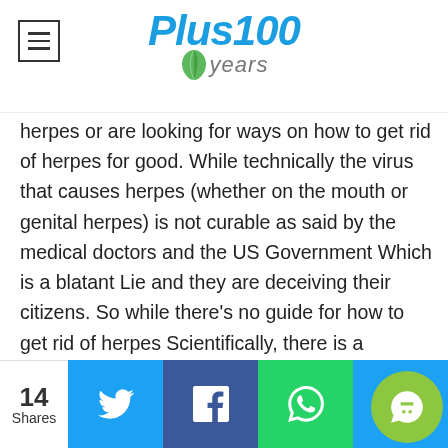Plus100 years
herpes or are looking for ways on how to get rid of herpes for good. While technically the virus that causes herpes (whether on the mouth or genital herpes) is not curable as said by the medical doctors and the US Government Which is a blatant Lie and they are deceiving their citizens. So while there's no guide for how to get rid of herpes Scientifically, there is a method( DOCTOR RAZOR NATURAL MEDICINE) for how to get rid of herpes simplex Virus the natural way and keep breakouts at bay. By boosting the immune system through a healthy diet, making lifestyle changes and visiting his website https://herbalistrazorherb.wixsite.com/drrazorherb Reach Herbalist Razor today on Email :
14 Shares